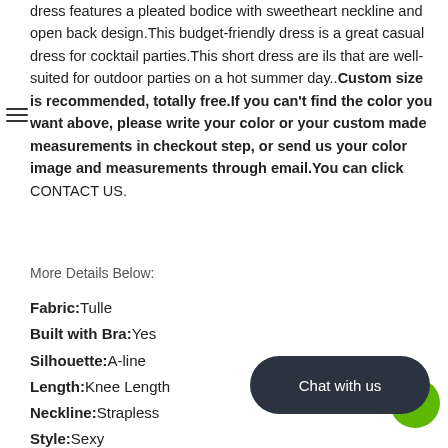dress features a pleated bodice with sweetheart neckline and open back design.This budget-friendly dress is a great casual dress for cocktail parties.This short dress are ils that are well-suited for outdoor parties on a hot summer day..Custom size is recommended, totally free.If you can't find the color you want above, please write your color or your custom made measurements in checkout step, or send us your color image and measurements through email.You can click CONTACT US.
More Details Below:
Fabric:Tulle
Built with Bra:Yes
Silhouette:A-line
Length:Knee Length
Neckline:Strapless
Style:Sexy
Season:Fall,Summer,Spring